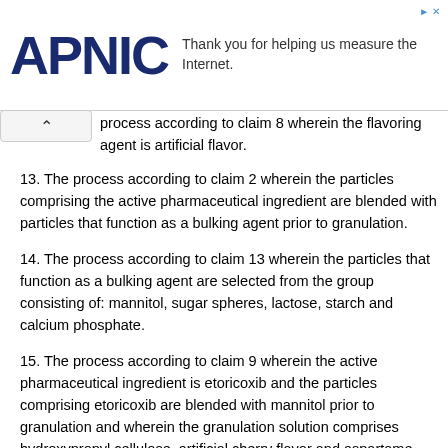[Figure (logo): APNIC logo with advertisement text: Thank you for helping us measure the Internet.]
process according to claim 8 wherein the flavoring agent is artificial flavor.
13. The process according to claim 2 wherein the particles comprising the active pharmaceutical ingredient are blended with particles that function as a bulking agent prior to granulation.
14. The process according to claim 13 wherein the particles that function as a bulking agent are selected from the group consisting of: mannitol, sugar spheres, lactose, starch and calcium phosphate.
15. The process according to claim 9 wherein the active pharmaceutical ingredient is etoricoxib and the particles comprising etoricoxib are blended with mannitol prior to granulation and wherein the granulation solution comprises hydroxypropyl cellulose, artificial cherry flavor and aspartame.
16. The process according to claim 15 wherein the volume mean diameter of the final product is about 800 µm.
17. A pharmaceutical composition comprising granules produced by the